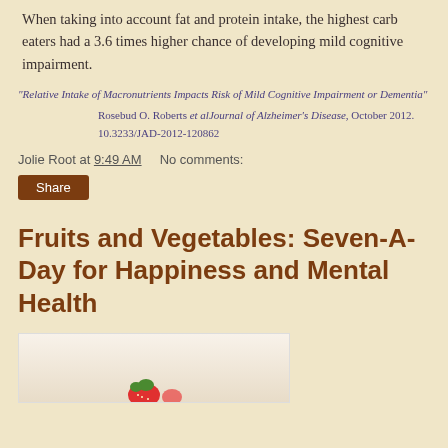When taking into account fat and protein intake, the highest carb eaters had a 3.6 times higher chance of developing mild cognitive impairment.
"Relative Intake of Macronutrients Impacts Risk of Mild Cognitive Impairment or Dementia" Rosebud O. Roberts et al Journal of Alzheimer's Disease, October 2012. 10.3233/JAD-2012-120862
Jolie Root at 9:49 AM    No comments:
Share
Fruits and Vegetables: Seven-A-Day for Happiness and Mental Health
[Figure (photo): Photo of fruits (strawberries visible at bottom), partially shown at bottom of page]